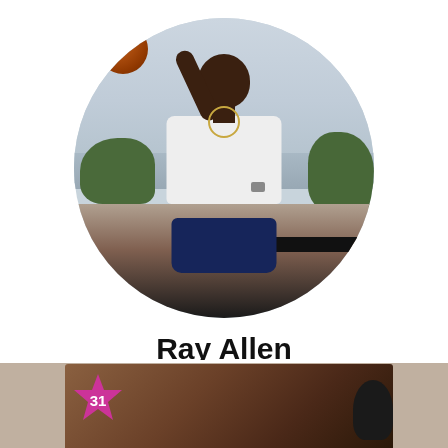[Figure (photo): Circular profile photo of Ray Allen as a young man sitting with a basketball, wearing a white t-shirt and navy pants, outdoors with grass and water/horizon in the background]
Ray Allen
Jesus Shuttlesworth
[Figure (photo): Partial bottom thumbnail image with a pink/magenta star badge showing the number 31 in the bottom-left corner, and a brownish object in the background]